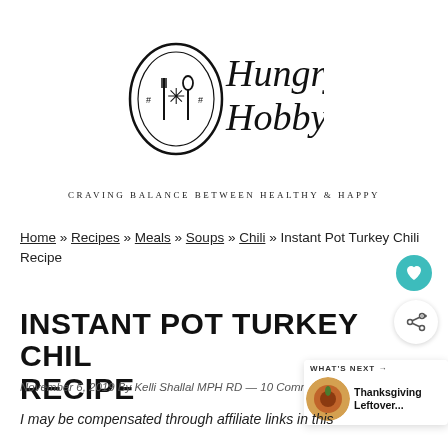[Figure (logo): Hungry Hobby logo: circular emblem with fork, spoon and asterisk, with script text 'Hungry Hobby' and tagline 'CRAVING BALANCE BETWEEN HEALTHY & HAPPY']
Home » Recipes » Meals » Soups » Chili » Instant Pot Turkey Chili Recipe
INSTANT POT TURKEY CHILI RECIPE
November 6, 2019 By Kelli Shallal MPH RD — 10 Comments
WHAT'S NEXT → Thanksgiving Leftover...
I may be compensated through affiliate links in this